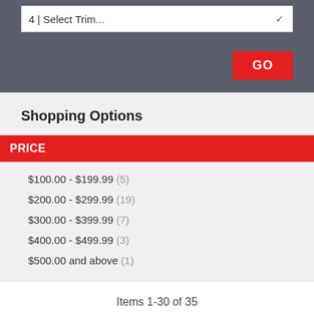4 | Select Trim...
Shopping Options
PRICE
$100.00 - $199.99 (5)
$200.00 - $299.99 (19)
$300.00 - $399.99 (7)
$400.00 - $499.99 (3)
$500.00 and above (1)
Items 1-30 of 35